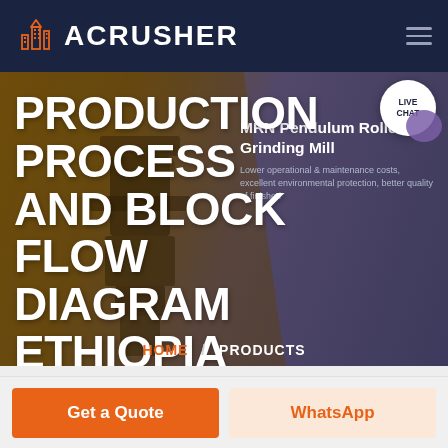ACRUSHER
PRODUCTION PROCESS AND BLOCK FLOW DIAGRAM ETHIOPIA
MRN Pendulum Roller Grinding Mill
Lower operational & maintenance costs, excellent environmental protection, better quality of finished
LIVE CHAT
HOME / PRODUCTS
Get a Quote
WhatsApp